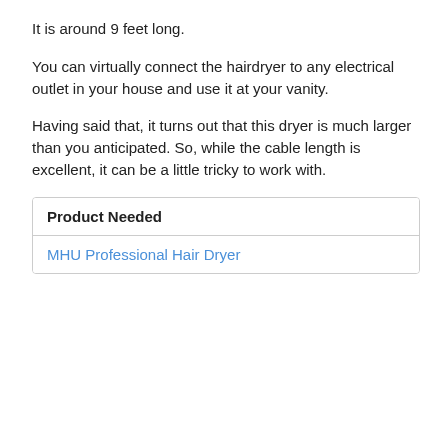It is around 9 feet long.
You can virtually connect the hairdryer to any electrical outlet in your house and use it at your vanity.
Having said that, it turns out that this dryer is much larger than you anticipated. So, while the cable length is excellent, it can be a little tricky to work with.
| Product Needed |
| --- |
| MHU Professional Hair Dryer |